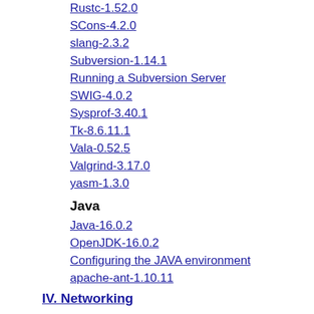Rustc-1.52.0
SCons-4.2.0
slang-2.3.2
Subversion-1.14.1
Running a Subversion Server
SWIG-4.0.2
Sysprof-3.40.1
Tk-8.6.11.1
Vala-0.52.5
Valgrind-3.17.0
yasm-1.3.0
Java
Java-16.0.2
OpenJDK-16.0.2
Configuring the JAVA environment
apache-ant-1.10.11
IV. Networking
14. Connecting to a Network
Advanced Network Setup
dhcpcd-9.4.0
DHCP-4.4.2-P1